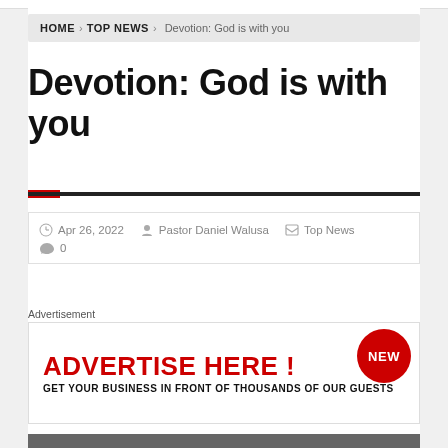HOME > TOP NEWS > Devotion: God is with you
Devotion: God is with you
Apr 26, 2022   Pastor Daniel Walusa   Top News   0
Advertisement
[Figure (infographic): Advertisement banner: ADVERTISE HERE! GET YOUR BUSINESS IN FRONT OF THOUSANDS OF OUR GUESTS with a NEW badge]
[Figure (photo): Partial photo visible at bottom of page]